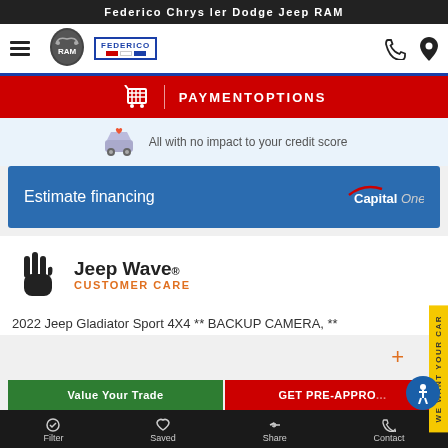Federico Chrysler Dodge Jeep RAM
[Figure (logo): RAM truck logo shield and Federico logo in navigation bar, with hamburger menu, phone and location icons]
PAYMENT OPTIONS
All with no impact to your credit score
Estimate financing
[Figure (logo): Capital One logo]
[Figure (logo): Jeep Wave Customer Care logo with hand icon]
2022 Jeep Gladiator Sport 4X4 ** BACKUP CAMERA, **
Value Your Trade
GET PRE-APPRO...
Filter  Saved  Share  Contact